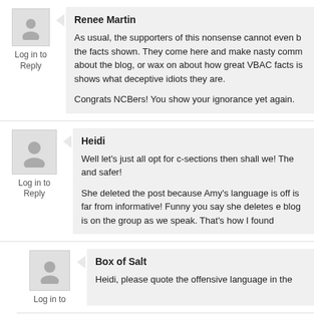Renee Martin
Log in to Reply
As usual, the supporters of this nonsense cannot even b... the facts shown. They come here and make nasty comm... about the blog, or wax on about how great VBAC facts is... shows what deceptive idiots they are.

Congrats NCBers! You show your ignorance yet again.
Heidi
Log in to Reply
Well let's just all opt for c-sections then shall we! The... and safer!

She deleted the post because Amy's language is off... is far from informative! Funny you say she deletes e... blog is on the group as we speak. That's how I found...
Box of Salt
Log in to
Heidi, please quote the offensive language in the...